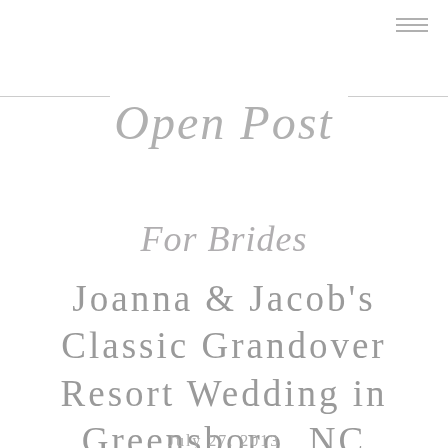Open Post
For Brides
Joanna & Jacob's Classic Grandover Resort Wedding in Greensboro, NC
July 27, 2013